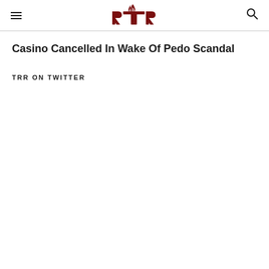TRR
Casino Cancelled In Wake Of Pedo Scandal
TRR ON TWITTER